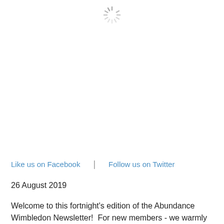[Figure (other): Loading spinner icon (sunburst/radial lines) centered at top of page]
Like us on Facebook | Follow us on Twitter
26 August 2019
Welcome to this fortnight's edition of the Abundance Wimbledon Newsletter!  For new members - we warmly welcome you to this group